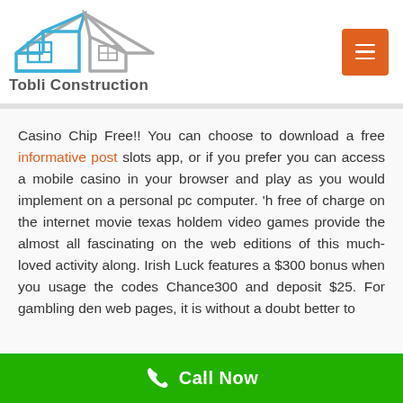[Figure (logo): Tobli Construction logo with a house outline in blue and gray, with a blue window grid, and the text 'Tobli Construction' below]
Casino Chip Free!! You can choose to download a free informative post slots app, or if you prefer you can access a mobile casino in your browser and play as you would implement on a personal pc computer. 'h free of charge on the internet movie texas holdem video games provide the almost all fascinating on the web editions of this much-loved activity along. Irish Luck features a $300 bonus when you usage the codes Chance300 and deposit $25. For gambling den web pages, it is without a doubt better to
Call Now